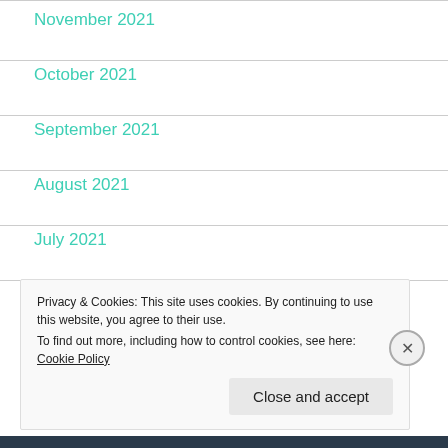November 2021
October 2021
September 2021
August 2021
July 2021
April 2021
Privacy & Cookies: This site uses cookies. By continuing to use this website, you agree to their use.
To find out more, including how to control cookies, see here: Cookie Policy
Close and accept